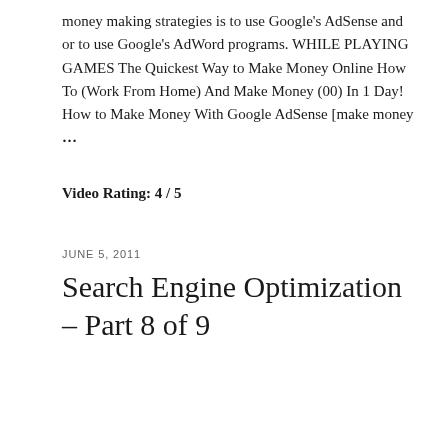money making strategies is to use Google's AdSense and or to use Google's AdWord programs. WHILE PLAYING GAMES The Quickest Way to Make Money Online How To (Work From Home) And Make Money (00) In 1 Day! How to Make Money With Google AdSense [make money …
Video Rating: 4 / 5
JUNE 5, 2011
Search Engine Optimization – Part 8 of 9